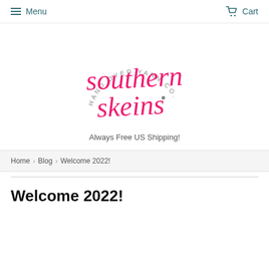Menu   Cart
[Figure (logo): Southern Skeins Hand Dyed Yarn Co. logo — script pink lettering reading 'southern skeins' with circular grey text 'HAND DYED YARN CO.' arcing above]
Always Free US Shipping!
Home › Blog › Welcome 2022!
Welcome 2022!